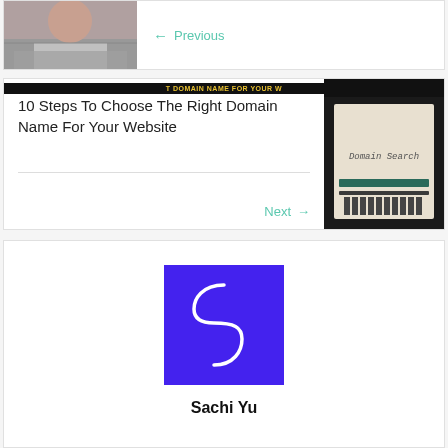[Figure (photo): Partial photo of a child's face, cropped at top]
← Previous
10 Steps To Choose The Right Domain Name For Your Website
[Figure (photo): Image of a typewriter with paper showing 'Domain Search' text, banner reads 'T DOMAIN NAME FOR YOUR W']
Next →
[Figure (logo): Purple square logo with a white stylized letter S]
Sachi Yu